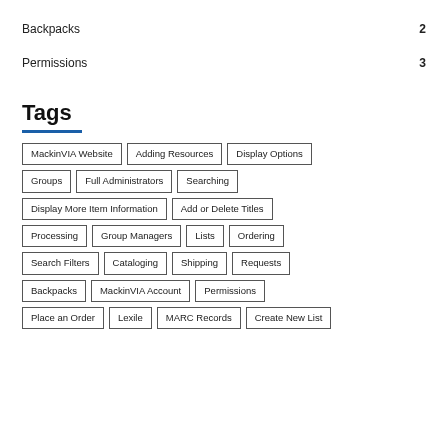Backpacks 2
Permissions 3
Tags
MackinVIA Website | Adding Resources | Display Options | Groups | Full Administrators | Searching | Display More Item Information | Add or Delete Titles | Processing | Group Managers | Lists | Ordering | Search Filters | Cataloging | Shipping | Requests | Backpacks | MackinVIA Account | Permissions | Place an Order | Lexile | MARC Records | Create New List